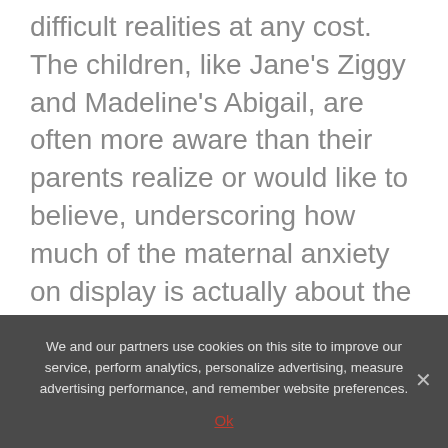difficult realities at any cost. The children, like Jane's Ziggy and Madeline's Abigail, are often more aware than their parents realize or would like to believe, underscoring how much of the maternal anxiety on display is actually about the discomfort of the adults in the room.
“We have to earn our good-mom badges all over again,” Madeline told her husband as they dropped their daughter off at school at the start of the new season. “‘Has she gotten fatter over the summer? Does she look older?’ These
We and our partners use cookies on this site to improve our service, perform analytics, personalize advertising, measure advertising performance, and remember website preferences.
Ok